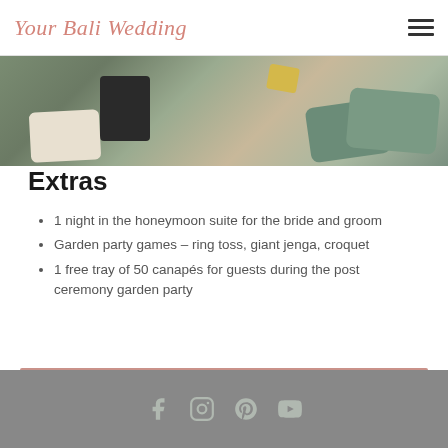Your Bali Wedding
[Figure (photo): Indoor lounge area with green and white pillows and cushions on the floor]
Extras
1 night in the honeymoon suite for the bride and groom
Garden party games – ring toss, giant jenga, croquet
1 free tray of 50 canapés for guests during the post ceremony garden party
ENQUIRE ABOUT THIS PACKAGE NOW
Social media icons: Facebook, Instagram, Pinterest, YouTube